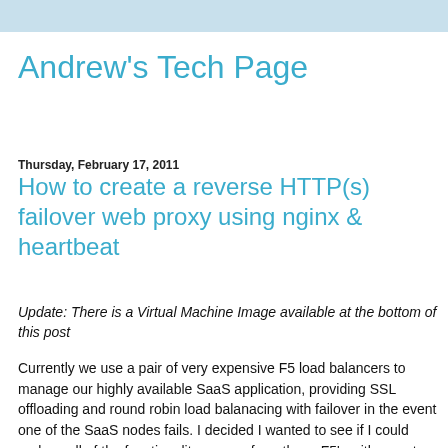Andrew's Tech Page
Thursday, February 17, 2011
How to create a reverse HTTP(s) failover web proxy using nginx & heartbeat
Update: There is a Virtual Machine Image available at the bottom of this post
Currently we use a pair of very expensive F5 load balancers to manage our highly available SaaS application, providing SSL offloading and round robin load balanacing with failover in the event one of the SaaS nodes fails.  I decided I wanted to see if I could replace all of the functionality we use from those F5's with a custom built (and free) solution.  I spoke to